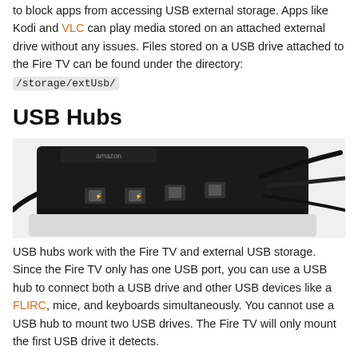to block apps from accessing USB external storage. Apps like Kodi and VLC can play media stored on an attached external drive without any issues. Files stored on a USB drive attached to the Fire TV can be found under the directory: /storage/extUsb/
USB Hubs
[Figure (photo): Photo of a black USB hub with multiple USB ports and cables plugged in, placed on a white surface.]
USB hubs work with the Fire TV and external USB storage. Since the Fire TV only has one USB port, you can use a USB hub to connect both a USB drive and other USB devices like a FLIRC, mice, and keyboards simultaneously. You cannot use a USB hub to mount two USB drives. The Fire TV will only mount the first USB drive it detects.
Both powered and unpowered USB hubs work with the Fire TV. Some powered USB hubs will cause the Fire TV to freeze on the white Amazon logo during boot up. This is due to the Fire TV